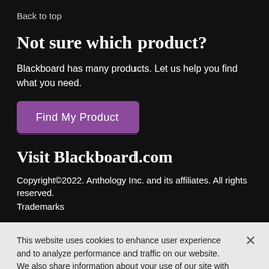Back to top
Not sure which product?
Blackboard has many products. Let us help you find what you need.
Find My Product
Visit Blackboard.com
Copyright©2022. Anthology Inc. and its affiliates. All rights reserved.
Trademarks
This website uses cookies to enhance user experience and to analyze performance and traffic on our website. We also share information about your use of our site with our social media, advertising and analytics partners. Cookie Statement
Do Not Sell My Personal Information
Accept Cookies